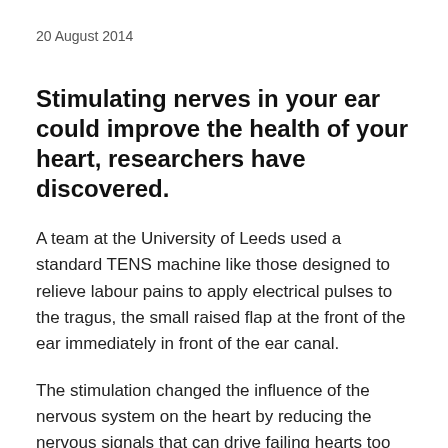20 August 2014
Stimulating nerves in your ear could improve the health of your heart, researchers have discovered.
A team at the University of Leeds used a standard TENS machine like those designed to relieve labour pains to apply electrical pulses to the tragus, the small raised flap at the front of the ear immediately in front of the ear canal.
The stimulation changed the influence of the nervous system on the heart by reducing the nervous signals that can drive failing hearts too